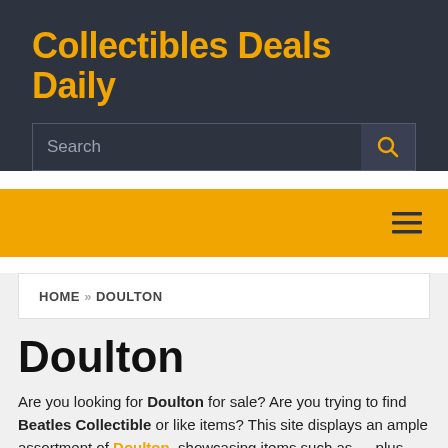Collectibles Deals Daily
[Figure (screenshot): Search bar with placeholder text 'Search' and orange magnifying glass icon button on dark background]
[Figure (screenshot): Orange navigation bar with dark hamburger menu icon (three horizontal lines) on the right]
HOME » DOULTON
Doulton
Are you looking for Doulton for sale? Are you trying to find Beatles Collectible or like items? This site displays an ample assortment of Doulton, showcasing items such as…, plus